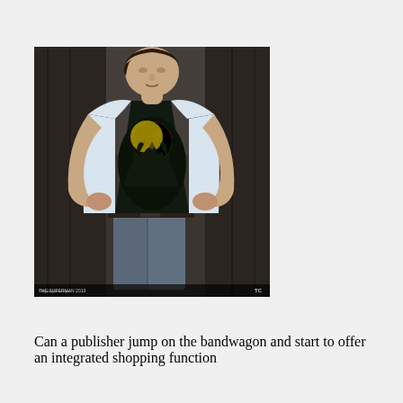[Figure (photo): A man in a light blue shirt opening it to reveal a black t-shirt underneath with wolves howling at the moon graphic, reminiscent of the Superman reveal pose. Dark background.]
Can a publisher jump on the bandwagon and start to offer an integrated shopping function